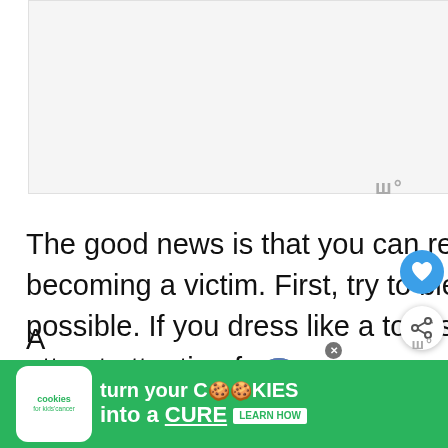[Figure (other): Large blank/white advertisement placeholder area]
The good news is that you can reduce your chances of becoming a victim. First, try to blend in as much as possible. If you dress like a tourist, you're more likely to attract attention from criminals.
[Figure (other): WHAT'S NEXT → Is Chicago Safe in 2022... with city skyline thumbnail]
[Figure (other): Advertisement banner: cookies for kids cancer — turn your COOKIES into a CURE LEARN HOW]
A